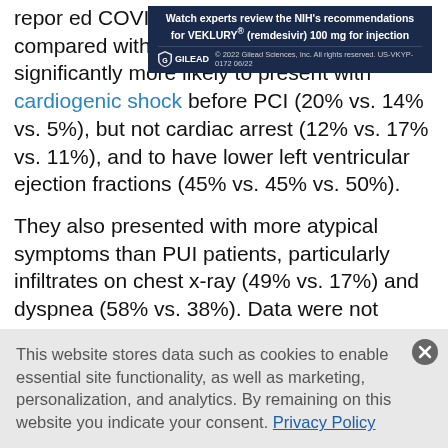reported COVID-19–positive patients, as compared with PUI and controls, were significantly more likely to present with cardiogenic shock before PCI (20% vs. 14% vs. 5%), but not cardiac arrest (12% vs. 17% vs. 11%), and to have lower left ventricular ejection fractions (45% vs. 45% vs. 50%).
[Figure (other): Gilead advertisement banner: 'Watch experts review the NIH's recommendations for VEKLURY® (remdesivir) 100 mg for injection' with Gilead logo and copyright notice.]
They also presented with more atypical symptoms than PUI patients, particularly infiltrates on chest x-ray (49% vs. 17%) and dyspnea (58% vs. 38%). Data were not available for these outcomes among historic controls.
This website stores data such as cookies to enable essential site functionality, as well as marketing, personalization, and analytics. By remaining on this website you indicate your consent. Privacy Policy